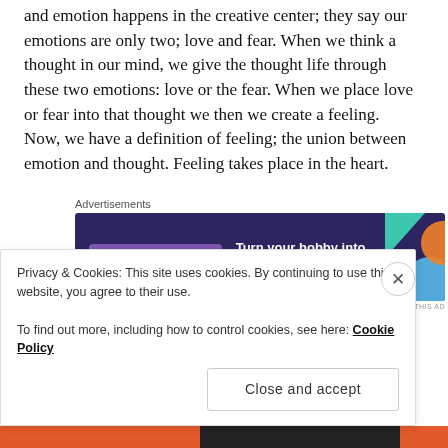and emotion happens in the creative center; they say our emotions are only two; love and fear. When we think a thought in our mind, we give the thought life through these two emotions: love or the fear. When we place love or fear into that thought we then we create a feeling. Now, we have a definition of feeling; the union between emotion and thought. Feeling takes place in the heart.
[Figure (screenshot): WooCommerce advertisement banner with purple background reading 'Turn your hobby into a business in 8 steps']
“Our beliefs (derived from our feelings) then translate
Privacy & Cookies: This site uses cookies. By continuing to use this website, you agree to their use.
To find out more, including how to control cookies, see here: Cookie Policy
Close and accept